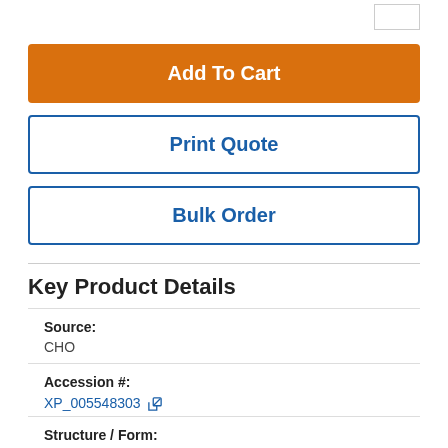Add To Cart
Print Quote
Bulk Order
Key Product Details
Source:
CHO
Accession #:
XP_005548303
Structure / Form: